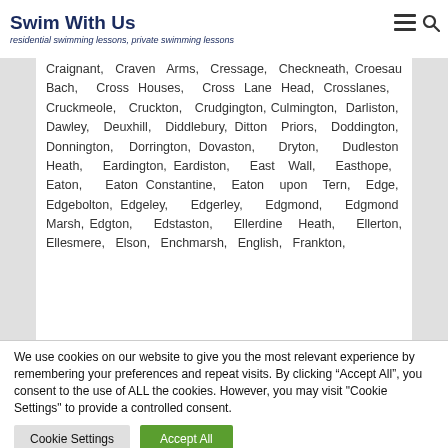Swim With Us — residential swimming lessons, private swimming lessons
Craignant, Craven Arms, Cressage, Checkneath, Croesau Bach, Cross Houses, Cross Lane Head, Crosslanes, Cruckmeole, Cruckton, Crudgington, Culmington, Darliston, Dawley, Deuxhill, Diddlebury, Ditton Priors, Doddington, Donnington, Dorrington, Dovaston, Dryton, Dudleston Heath, Eardington, Eardiston, East Wall, Easthope, Eaton, Eaton Constantine, Eaton upon Tern, Edge, Edgebolton, Edgeley, Edgerley, Edgmond, Edgmond Marsh, Edgton, Edstaston, Ellerdine Heath, Ellerton, Ellesmere, Elson, Enchmarsh, English, Frankton
We use cookies on our website to give you the most relevant experience by remembering your preferences and repeat visits. By clicking "Accept All", you consent to the use of ALL the cookies. However, you may visit "Cookie Settings" to provide a controlled consent.